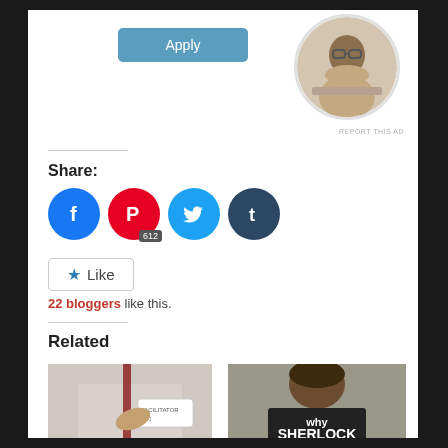[Figure (other): Apply button - blue/teal rounded rectangle button with white text 'Apply']
[Figure (photo): Circular profile photo of a Black man with glasses, resting his chin on his hand while sitting at a desk]
REPORT THIS AD
Share:
[Figure (infographic): Four social media share icons: Facebook (blue circle), Pinterest (red circle with 612 badge), Twitter (cyan circle), Tumblr (dark circle)]
[Figure (other): Like button with star icon]
22 bloggers like this.
Related
[Figure (photo): Photo related to 'Does Personality Type change over time?' showing a hand holding a name badge with caption 'Look, they gave me a badge with my']
[Figure (photo): Photo related to 'Why Sherlock isn't an INTP' showing back of person's head with text 'why SHERLOCK' on their shirt]
Does Personality Type change over time?
Why Sherlock isn't an INTP